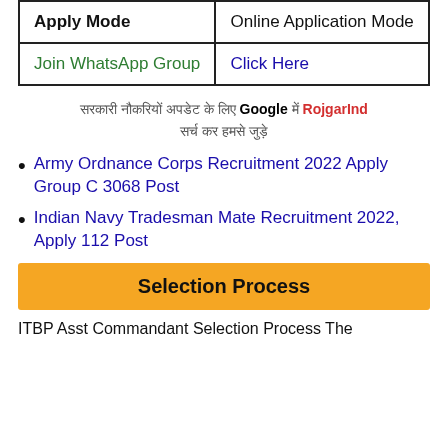| Apply Mode | Online Application Mode |
| Join WhatsApp Group | Click Here |
सरकारी नौकरियों अपडेट के लिए Google में RojgarInd सर्च कर हमसे जुड़े
Army Ordnance Corps Recruitment 2022 Apply Group C 3068 Post
Indian Navy Tradesman Mate Recruitment 2022, Apply 112 Post
Selection Process
ITBP Asst Commandant Selection Process The